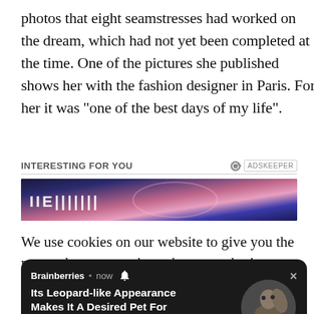photos that eight seamstresses had worked on the dream, which had not yet been completed at the time. One of the pictures she published shows her with the fashion designer in Paris. For her it was “one of the best days of my life”.
INTERESTING FOR YOU
[Figure (photo): Advertisement banner with colorful background showing text/logo]
We use cookies on our website to give you the most relevant experience by remembering your preferences and repeat visits. By clicking “Accept All” Ho... pre...
[Figure (screenshot): Browser notification popup from Brainberries showing article: Its Leopard-like Appearance Makes It A Desired Pet For Cat Lovers with 878 likes and image of woman with large cat]